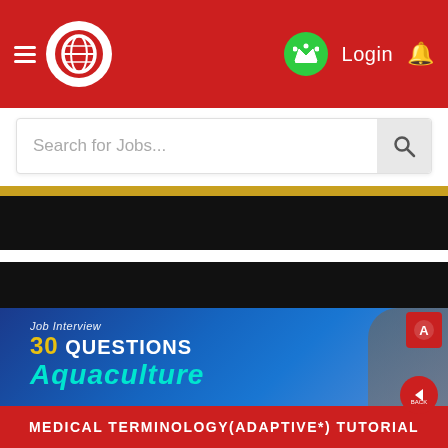Login
Search for Jobs...
[Figure (screenshot): Video thumbnail showing 'Job Interview 30 Questions Aquaculture' on a blue background with a badge logo]
MEDICAL TERMINOLOGY(ADAPTIVE*) TUTORIAL